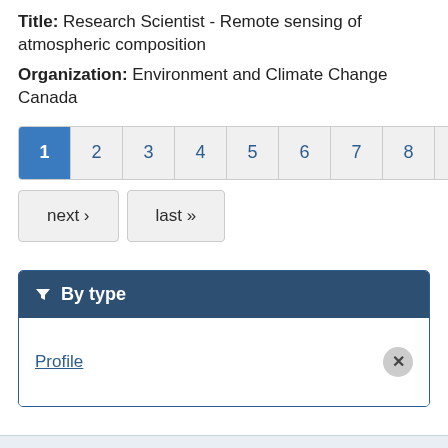Title: Research Scientist - Remote sensing of atmospheric composition
Organization: Environment and Climate Change Canada
[Figure (other): Pagination control with pages 1 (active/highlighted in blue) through 9, plus 'next ›' and 'last »' navigation buttons]
By type
Profile